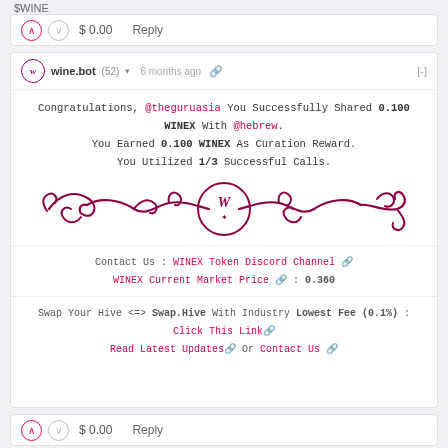$WINE
$ 0.00   Reply
wine.bot (52) ▾  6 months ago  🔗  [-]
Congratulations, @theguruasia You Successfully Shared 0.100 WINEX With @hebrew.
You Earned 0.100 WINEX As Curation Reward.
You Utilized 1/3 Successful Calls.
[Figure (illustration): Decorative wine.bot logo divider with curly ornamental lines and a circular W logo in the center, in dark pink/maroon color]
Contact Us : WINEX Token Discord Channel 🔗
WINEX Current Market Price 🔗 : 0.360
Swap Your Hive <=> Swap.Hive With Industry Lowest Fee (0.1%) : Click This Link 🔗
Read Latest Updates 🔗 Or Contact Us 🔗
$ 0.00   Reply